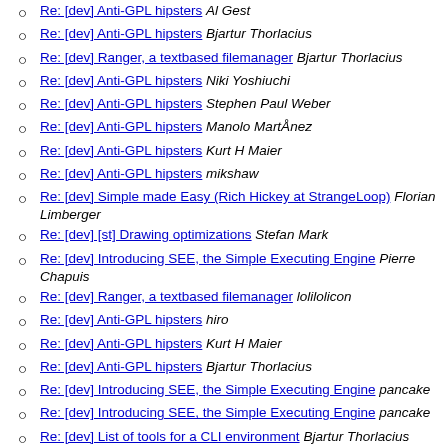Re: [dev] Anti-GPL hipsters Al Gest
Re: [dev] Anti-GPL hipsters Bjartur Thorlacius
Re: [dev] Ranger, a textbased filemanager Bjartur Thorlacius
Re: [dev] Anti-GPL hipsters Niki Yoshiuchi
Re: [dev] Anti-GPL hipsters Stephen Paul Weber
Re: [dev] Anti-GPL hipsters Manolo MartÅnez
Re: [dev] Anti-GPL hipsters Kurt H Maier
Re: [dev] Anti-GPL hipsters mikshaw
Re: [dev] Simple made Easy (Rich Hickey at StrangeLoop) Florian Limberger
Re: [dev] [st] Drawing optimizations Stefan Mark
Re: [dev] Introducing SEE, the Simple Executing Engine Pierre Chapuis
Re: [dev] Ranger, a textbased filemanager lolilolicon
Re: [dev] Anti-GPL hipsters hiro
Re: [dev] Anti-GPL hipsters Kurt H Maier
Re: [dev] Anti-GPL hipsters Bjartur Thorlacius
Re: [dev] Introducing SEE, the Simple Executing Engine pancake
Re: [dev] Introducing SEE, the Simple Executing Engine pancake
Re: [dev] List of tools for a CLI environment Bjartur Thorlacius
Re: [dev] Ranger, a textbased filemanager Bjartur